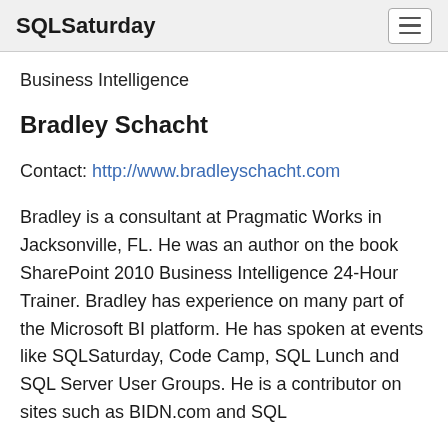SQLSaturday
Business Intelligence
Bradley Schacht
Contact: http://www.bradleyschacht.com
Bradley is a consultant at Pragmatic Works in Jacksonville, FL. He was an author on the book SharePoint 2010 Business Intelligence 24-Hour Trainer. Bradley has experience on many part of the Microsoft BI platform. He has spoken at events like SQLSaturday, Code Camp, SQL Lunch and SQL Server User Groups. He is a contributor on sites such as BIDN.com and SQL